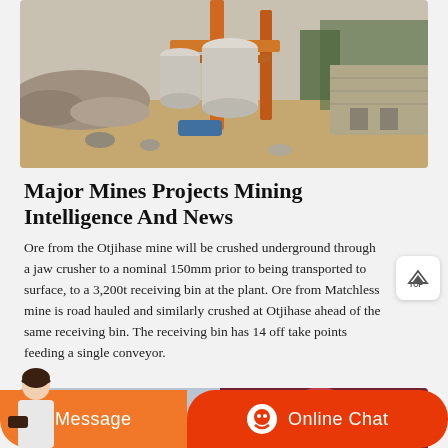[Figure (photo): Outdoor mining/crushing site with machinery, rock piles, orange metal structure, cylindrical tanks, and trees in background]
Major Mines Projects Mining Intelligence And News
Ore from the Otjihase mine will be crushed underground through a jaw crusher to a nominal 150mm prior to being transported to surface, to a 3,200t receiving bin at the plant. Ore from Matchless mine is road hauled and similarly crushed at Otjihase ahead of the same receiving bin. The receiving bin has 14 off take points feeding a single conveyor.
[Figure (photo): Partial view of another mining site or equipment, with blue and red/maroon circular element visible]
Message
Online Chat